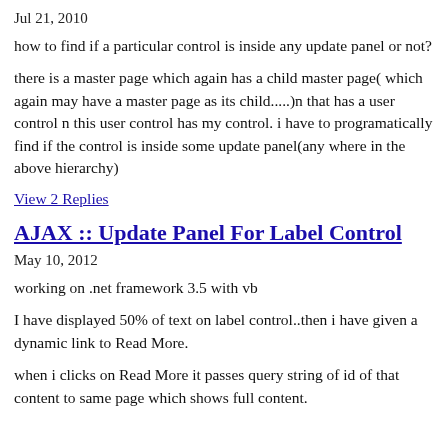Jul 21, 2010
how to find if a particular control is inside any update panel or not?
there is a master page which again has a child master page( which again may have a master page as its child.....)n that has a user control n this user control has my control. i have to programatically find if the control is inside some update panel(any where in the above hierarchy)
View 2 Replies
AJAX :: Update Panel For Label Control
May 10, 2012
working on .net framework 3.5 with vb
I have displayed 50% of text on label control..then i have given a dynamic link to Read More.
when i clicks on Read More it passes query string of id of that content to same page which shows full content.